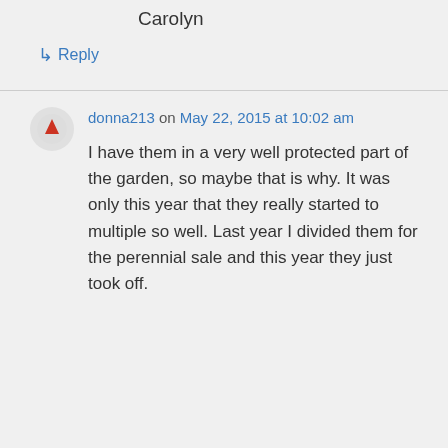Carolyn
↳ Reply
donna213 on May 22, 2015 at 10:02 am
I have them in a very well protected part of the garden, so maybe that is why. It was only this year that they really started to multiple so well. Last year I divided them for the perennial sale and this year they just took off.